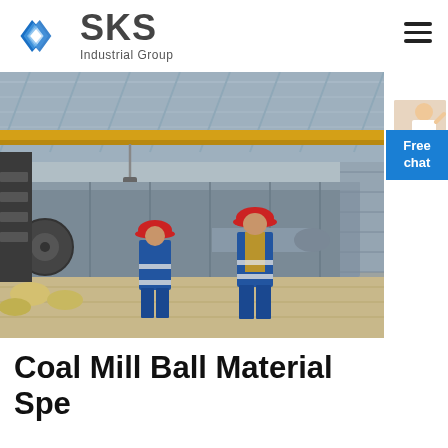[Figure (logo): SKS Industrial Group logo with blue diamond/arrow SVG icon and company name]
[Figure (photo): Two workers in blue overalls and red hard hats inspecting large industrial machinery (conveyor or screening equipment) inside a factory with yellow overhead crane]
Coal Mill Ball Material Specification